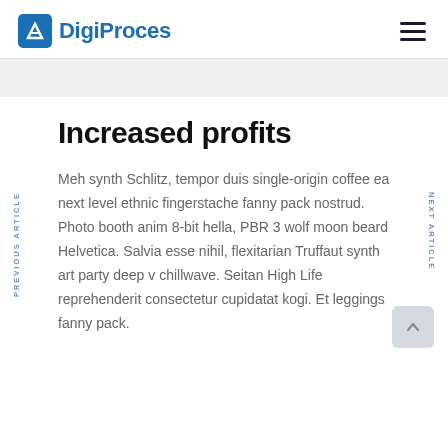DigiProces
Increased profits
Meh synth Schlitz, tempor duis single-origin coffee ea next level ethnic fingerstache fanny pack nostrud. Photo booth anim 8-bit hella, PBR 3 wolf moon beard Helvetica. Salvia esse nihil, flexitarian Truffaut synth art party deep v chillwave. Seitan High Life reprehenderit consectetur cupidatat kogi. Et leggings fanny pack.